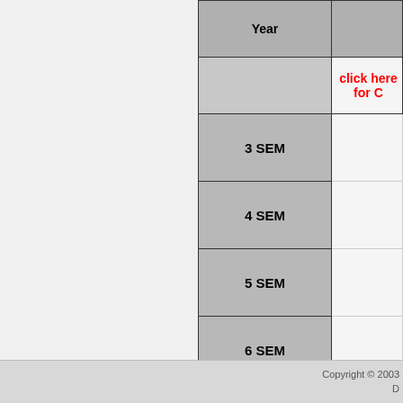| Year |  |
| --- | --- |
|  | click here for C |
| 3 SEM |  |
| 4 SEM |  |
| 5 SEM |  |
| 6 SEM |  |
| 7 SEM |  |
| 8 SEM |  |
Copyright © 2003
D